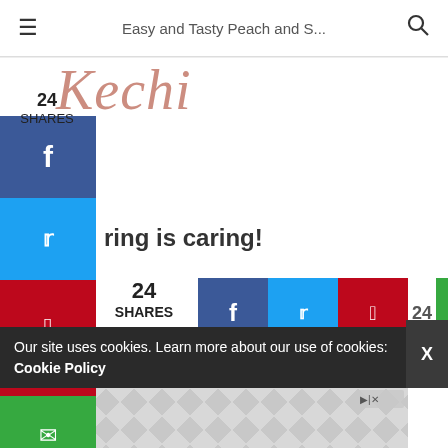Easy and Tasty Peach and S...
[Figure (screenshot): Kechi blog logo in cursive rose-gold text]
24 SHARES
[Figure (infographic): Facebook share button (blue)]
[Figure (infographic): Twitter share button (light blue)]
ring is caring!
[Figure (infographic): Pinterest share button (red) with 24 count]
[Figure (infographic): Email share button (green)]
24 SHARES
[Figure (infographic): Row of share buttons: Facebook, Twitter, Pinterest (24), Email]
TAGS: BREAKFAST SMOOTHIE HEALTHY SMOOTHIE HEART HEALTHY
Our site uses cookies. Learn more about our use of cookies: Cookie Policy
[Figure (screenshot): Advertisement banner with geometric diamond pattern and ad icons]